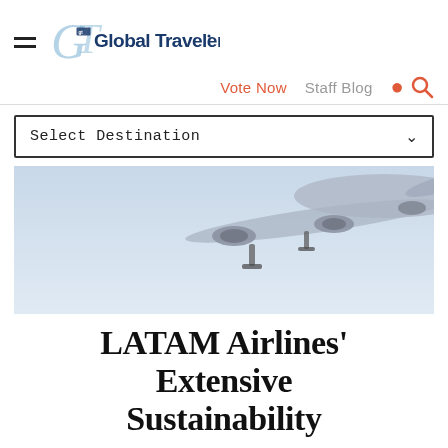Global Traveler (logo with hamburger menu)
Vote Now   Staff Blog (with search icon)
Select Destination
[Figure (photo): Underside of a commercial airplane in flight against a light blue sky, showing the fuselage, engines, and landing gear.]
LATAM Airlines' Extensive Sustainability